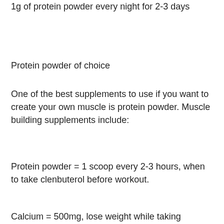1g of protein powder every night for 2-3 days
Protein powder of choice
One of the best supplements to use if you want to create your own muscle is protein powder. Muscle building supplements include:
Protein powder = 1 scoop every 2-3 hours, when to take clenbuterol before workout.
Calcium = 500mg, lose weight while taking steroids0.
This will supply your muscles with the amino acids you need for muscle